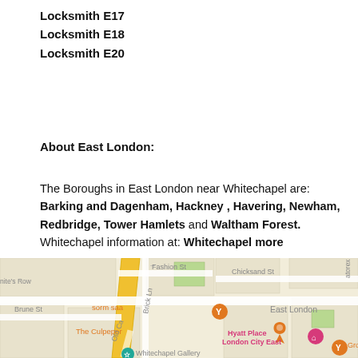Locksmith E17
Locksmith E18
Locksmith E20
About East London:
The Boroughs in East London near Whitechapel are: Barking and Dagenham, Hackney , Havering, Newham, Redbridge, Tower Hamlets and Waltham Forest.
Whitechapel information at: Whitechapel more
[Figure (map): Google Maps screenshot showing Whitechapel area in East London, with streets including Fashion St, Chicksand St, Brune St, Brick Ln, Old Castle St, and landmarks including Hyatt Place London City East, The Culpeper, sorm saa, Grounded Lond, and Whitechapel Gallery.]